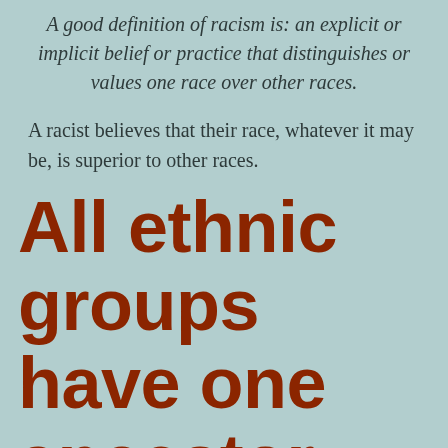A good definition of racism is: an explicit or implicit belief or practice that distinguishes or values one race over other races.
A racist believes that their race, whatever it may be, is superior to other races.
All ethnic groups have one ancestor and all